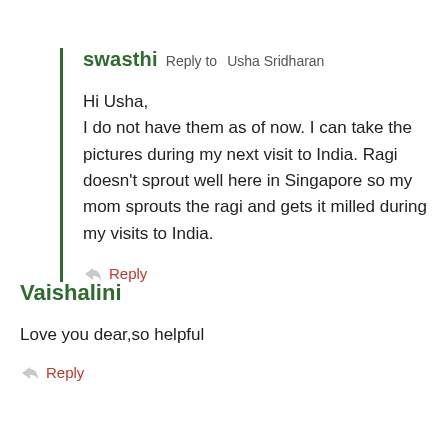swasthi  Reply to  Usha Sridharan
Hi Usha,
I do not have them as of now. I can take the pictures during my next visit to India. Ragi doesn't sprout well here in Singapore so my mom sprouts the ragi and gets it milled during my visits to India.
Reply
Vaishalini
Love you dear,so helpful
Reply